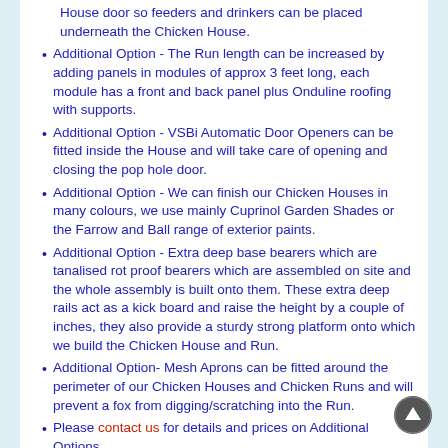House door so feeders and drinkers can be placed underneath the Chicken House.
Additional Option - The Run length can be increased by adding panels in modules of approx 3 feet long, each module has a front and back panel plus Onduline roofing with supports.
Additional Option - VSBi Automatic Door Openers can be fitted inside the House and will take care of opening and closing the pop hole door.
Additional Option - We can finish our Chicken Houses in many colours, we use mainly Cuprinol Garden Shades or the Farrow and Ball range of exterior paints.
Additional Option - Extra deep base bearers which are tanalised rot proof bearers which are assembled on site and the whole assembly is built onto them. These extra deep rails act as a kick board and raise the height by a couple of inches, they also provide a sturdy strong platform onto which we build the Chicken House and Run.
Additional Option- Mesh Aprons can be fitted around the perimeter of our Chicken Houses and Chicken Runs and will prevent a fox from digging/scratching into the Run.
Please contact us for details and prices on Additional Options
We personally deliver and install our Chicken Houses and Runs, we charge only for the round trip mileage based on your postcode from WV5 7EE, we install for free. Please contact us with your postcode or telephone 07874 150313 for delivery costs and